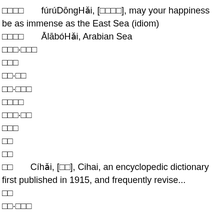□□□□  fúrúDōngHǎi, [□□□□], may your happiness be as immense as the East Sea (idiom)
□□□□  ĀlābóHǎi, Arabian Sea
□□□·□□□
□□□
□□·□□
□□·□□□
□□□□
□□□·□□
□□□
□□
□□
□□  Cíhǎi, [□□], Cihai, an encyclopedic dictionary first published in 1915, and frequently revise...
□□
□□·□□□